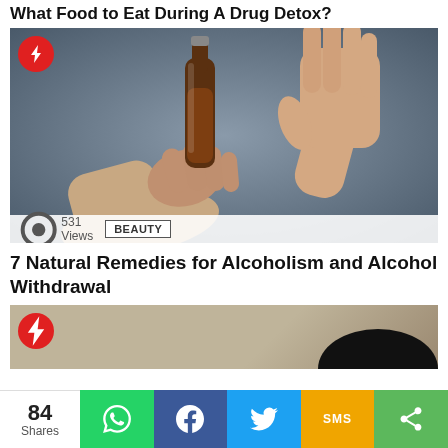What Food to Eat During A Drug Detox?
[Figure (photo): One hand offering a beer bottle, another hand raised in refusal gesture, against grey background. Red trending badge in top-left corner. Bottom bar shows 531 Views and BEAUTY tag.]
7 Natural Remedies for Alcoholism and Alcohol Withdrawal
[Figure (photo): Partial image with beige/tan background and dark silhouette on right side. Red trending badge in top-left corner.]
84 Shares
WhatsApp share button
Facebook share button
Twitter share button
SMS share button
More share button